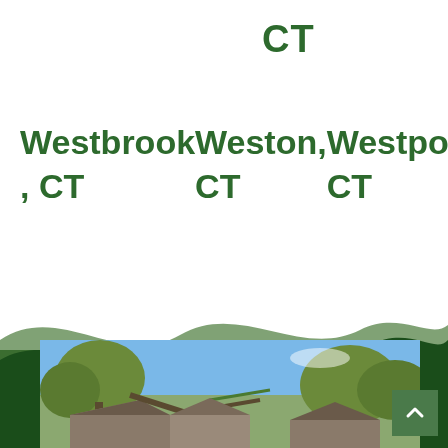CT
Westbrook, CT
Weston, CT
Westport, CT
[Figure (illustration): Decorative green wave background with dark green solid section below]
[Figure (photo): Photograph of a house with storm damage — fallen trees on roof, blue sky background with trees]